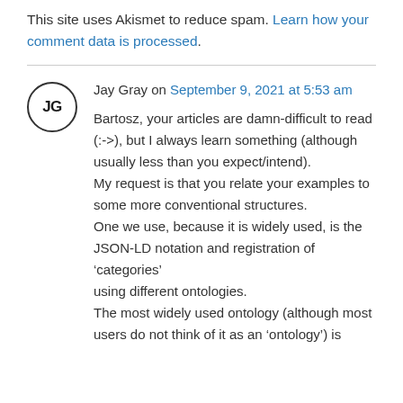This site uses Akismet to reduce spam. Learn how your comment data is processed.
Jay Gray on September 9, 2021 at 5:53 am
Bartosz, your articles are damn-difficult to read (:->) , but I always learn something (although usually less than you expect/intend).
My request is that you relate your examples to some more conventional structures.
One we use, because it is widely used, is the JSON-LD notation and registration of ‘categories’ using different ontologies.
The most widely used ontology (although most users do not think of it as an ‘ontology’) is